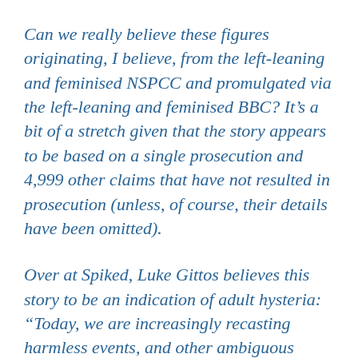Can we really believe these figures originating, I believe, from the left-leaning and feminised NSPCC and promulgated via the left-leaning and feminised BBC? It’s a bit of a stretch given that the story appears to be based on a single prosecution and 4,999 other claims that have not resulted in prosecution (unless, of course, their details have been omitted).
Over at Spiked, Luke Gittos believes this story to be an indication of adult hysteria: “Today, we are increasingly recasting harmless events, and other ambiguous moments in young people’s sexual